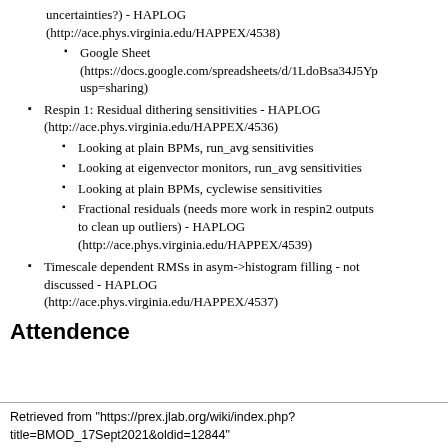uncertainties?) - HAPLOG (http://ace.phys.virginia.edu/HAPPEX/4538)
Google Sheet (https://docs.google.com/spreadsheets/d/1LdoBsa34J5Yp... usp=sharing)
Respin 1: Residual dithering sensitivities - HAPLOG (http://ace.phys.virginia.edu/HAPPEX/4536)
Looking at plain BPMs, run_avg sensitivities
Looking at eigenvector monitors, run_avg sensitivities
Looking at plain BPMs, cyclewise sensitivities
Fractional residuals (needs more work in respin2 outputs to clean up outliers) - HAPLOG (http://ace.phys.virginia.edu/HAPPEX/4539)
Timescale dependent RMSs in asym->histogram filling - not discussed - HAPLOG (http://ace.phys.virginia.edu/HAPPEX/4537)
Attendence
Retrieved from "https://prex.jlab.org/wiki/index.php?title=BMOD_17Sept2021&oldid=12844"